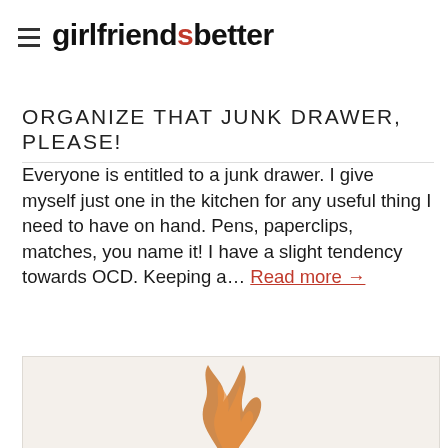girlfriend|better
[Figure (photo): Hero image strip showing food/decorative items including what appears to be gold flakes on a plate, partially overlapping the site header area]
ORGANIZE THAT JUNK DRAWER, PLEASE!
Everyone is entitled to a junk drawer. I give myself just one in the kitchen for any useful thing I need to have on hand. Pens, paperclips, matches, you name it! I have a slight tendency towards OCD. Keeping a... Read more →
[Figure (photo): Partially visible image at the bottom of the page showing a light background with what appears to be a flame or decorative element in warm orange/amber tones]